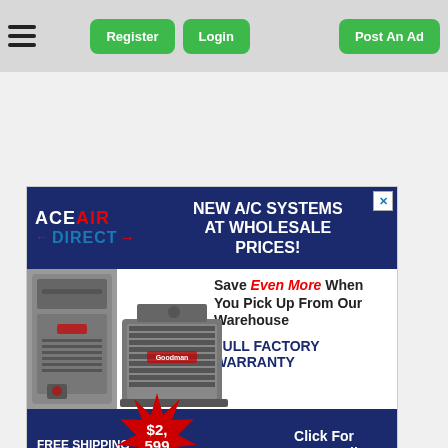Register | Login | Post An Ad
[Figure (illustration): Ace Air Direct advertisement banner. Top navy blue section with Ace Air Direct logo and headline 'NEW A/C SYSTEMS AT WHOLESALE PRICES!'. Middle white section with air handler and condenser unit images, text 'Save Even More When You Pick Up From Our Warehouse' and 'FULL FACTORY WARRANTY'. Bottom navy blue section with 'FREE SHIPPING', red starburst badge '$2,599', and 'Click For More Details'.]